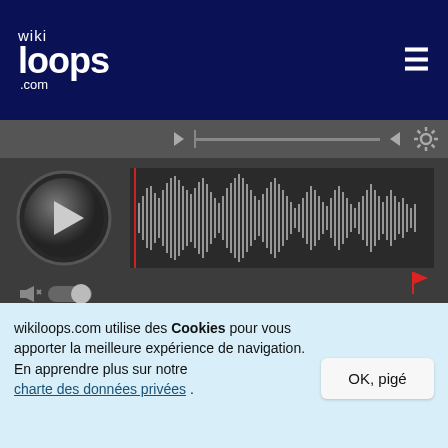[Figure (screenshot): wikiloops.com logo with 'wiki' in small text and 'loops' in large text, '.com' below, on dark navy background]
[Figure (screenshot): Audio player UI with waveform, play button, volume, track bar with colored segments, timecode 00:00 to 03:28, 130 BPM, Key of Em, PUB button]
[Figure (illustration): User avatar: brown square with 'diplo doc' text and a blue brontosaurus dinosaur illustration]
Oooh, I'm excited!!!!
+1
wikiloops.com utilise des Cookies pour vous apporter la meilleure expérience de navigation. En apprendre plus sur notre charte des données privées .